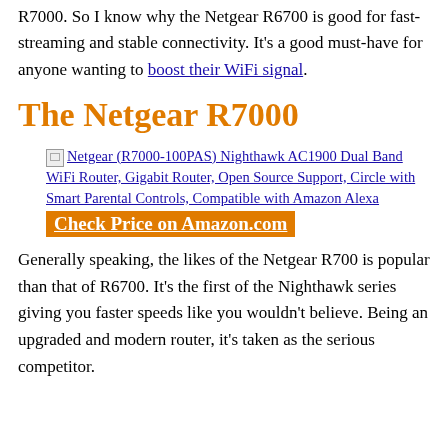R7000. So I know why the Netgear R6700 is good for fast-streaming and stable connectivity. It's a good must-have for anyone wanting to boost their WiFi signal.
The Netgear R7000
[Figure (other): Broken image placeholder for Netgear (R7000-100PAS) Nighthawk AC1900 Dual Band WiFi Router, Gigabit Router, Open Source Support, Circle with Smart Parental Controls, Compatible with Amazon Alexa product image with Amazon affiliate link]
Check Price on Amazon.com
Generally speaking, the likes of the Netgear R700 is popular than that of R6700. It's the first of the Nighthawk series giving you faster speeds like you wouldn't believe. Being an upgraded and modern router, it's taken as the serious competitor.